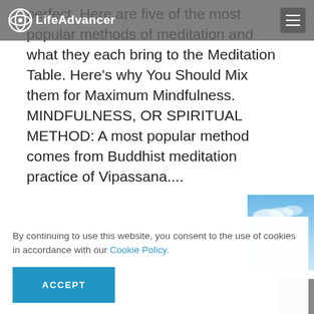LifeAdvancer
perfect. Here are five of the most popular methods of meditation and what they each bring to the Meditation Table. Here's why You Should Mix them for Maximum Mindfulness. MINDFULNESS, OR SPIRITUAL METHOD: A most popular method comes from Buddhist meditation practice of Vipassana....
By continuing to use this website, you consent to the use of cookies in accordance with our Cookie Policy.
ACCEPT
[Figure (photo): Thumbnail photo showing a blue sky scene at bottom right of page]